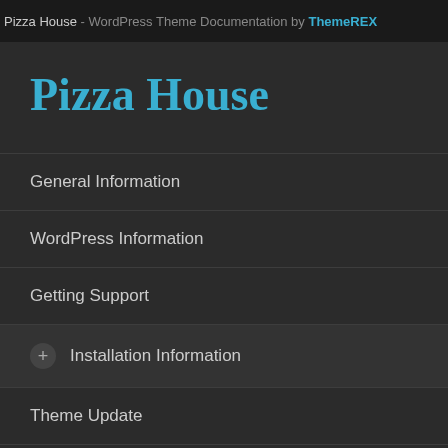Pizza House - WordPress Theme Documentation by ThemeREX
Pizza House
General Information
WordPress Information
Getting Support
+ Installation Information
Theme Update
Quick Start
Bundled plugins are willing to receive separately. Only th
WordP
To use this theme WordPress downlo
How to install W
We also encourage questions you may